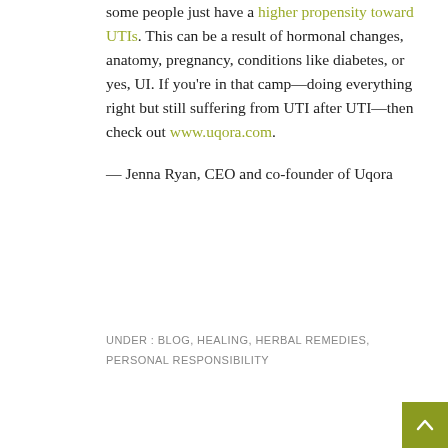some people just have a higher propensity toward UTIs. This can be a result of hormonal changes, anatomy, pregnancy, conditions like diabetes, or yes, UI. If you're in that camp—doing everything right but still suffering from UTI after UTI—then check out www.uqora.com.
— Jenna Ryan, CEO and co-founder of Uqora
UNDER : BLOG, HEALING, HERBAL REMEDIES, PERSONAL RESPONSIBILITY